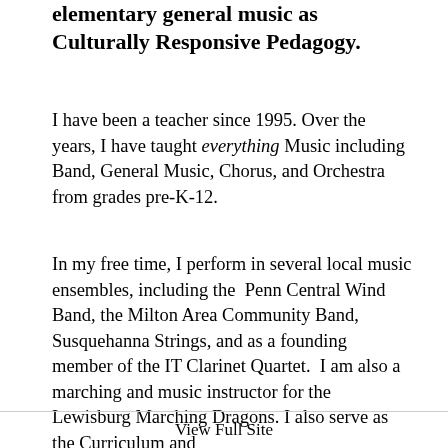elementary general music as Culturally Responsive Pedagogy.
I have been a teacher since 1995. Over the years, I have taught everything Music including Band, General Music, Chorus, and Orchestra from grades pre-K-12.
In my free time, I perform in several local music ensembles, including the Penn Central Wind Band, the Milton Area Community Band, Susquehanna Strings, and as a founding member of the IT Clarinet Quartet.  I am also a marching and music instructor for the Lewisburg Marching Dragons. I also serve as the Curriculum and Instruction Chair for PMEA District...
View Full Site